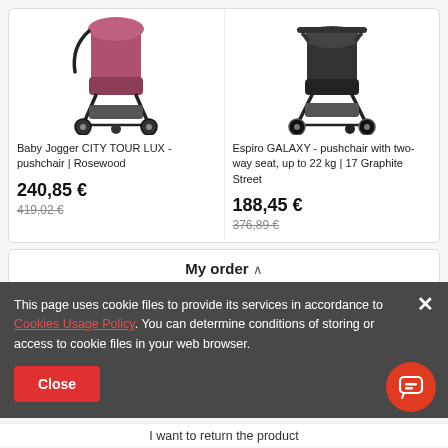[Figure (photo): Product image of Baby Jogger CITY TOUR LUX pushchair in Rosewood color]
Baby Jogger CITY TOUR LUX - pushchair | Rosewood
240,85 €
419,02 €
[Figure (photo): Product image of Espiro GALAXY pushchair in Graphite Street color]
Espiro GALAXY - pushchair with two-way seat, up to 22 kg | 17 Graphite Street
188,45 €
376,89 €
My order
This page uses cookie files to provide its services in accordance to Cookies Usage Policy. You can determine conditions of storing or access to cookie files in your web browser.
Close
I want to return the product